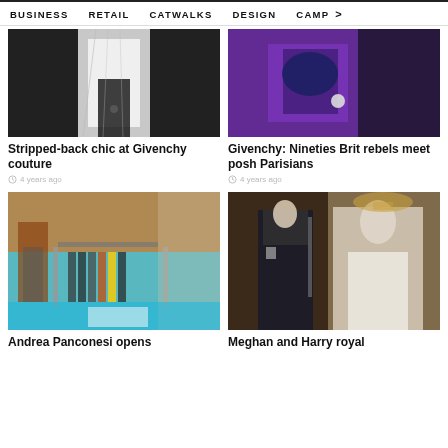BUSINESS   RETAIL   CATWALKS   DESIGN   CAMP >
[Figure (photo): Black and white fashion photo showing stripped-back chic clothing at Givenchy couture]
Stripped-back chic at Givenchy couture
4 years ago
[Figure (photo): Purple jacket fashion photo for Givenchy Nineties Brit rebels meet posh Parisians]
Givenchy: Nineties Brit rebels meet posh Parisians
4 years ago
[Figure (photo): Interior of Andrea Panconesi fashion store with colourful clothing racks and blue floor]
Andrea Panconesi opens
[Figure (photo): Meghan and Harry royal wedding display with mannequins in wedding dress and military uniform]
Meghan and Harry royal